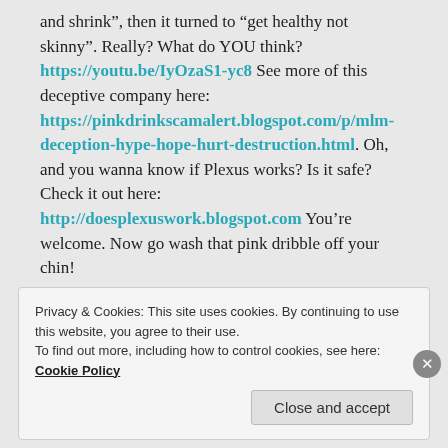and shrink”, then it turned to “get healthy not skinny”. Really? What do YOU think? https://youtu.be/IyOzaS1-yc8 See more of this deceptive company here: https://pinkdrinkscamalert.blogspot.com/p/mlm-deception-hype-hope-hurt-destruction.html. Oh, and you wanna know if Plexus works? Is it safe? Check it out here: http://doesplexuswork.blogspot.com You’re welcome. Now go wash that pink dribble off your chin!
★ Like
↳ Reply
Privacy & Cookies: This site uses cookies. By continuing to use this website, you agree to their use. To find out more, including how to control cookies, see here: Cookie Policy
Close and accept